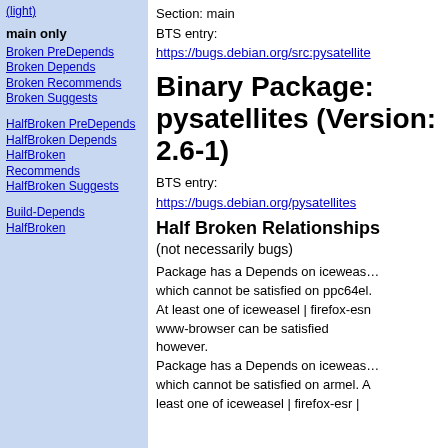(light)
main only
Broken PreDepends
Broken Depends
Broken Recommends
Broken Suggests
HalfBroken PreDepends
HalfBroken Depends
HalfBroken Recommends
HalfBroken Suggests
Build-Depends
HalfBroken
Section: main
BTS entry:
https://bugs.debian.org/src:pysatellite
Binary Package: pysatellites (Version: 2.6-1)
BTS entry:
https://bugs.debian.org/pysatellites
Half Broken Relationships
(not necessarily bugs)
Package has a Depends on iceweasel which cannot be satisfied on ppc64el. At least one of iceweasel | firefox-esr | www-browser can be satisfied however.
Package has a Depends on iceweasel which cannot be satisfied on armel. At least one of iceweasel | firefox-esr |